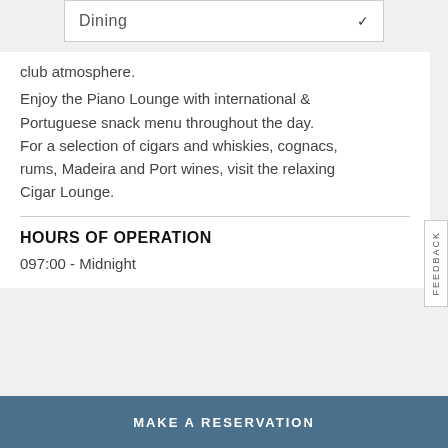Dining
club atmosphere.
Enjoy the Piano Lounge with international & Portuguese snack menu throughout the day.
For a selection of cigars and whiskies, cognacs, rums, Madeira and Port wines, visit the relaxing Cigar Lounge.
HOURS OF OPERATION
097:00 - Midnight
FEEDBACK
MAKE A RESERVATION